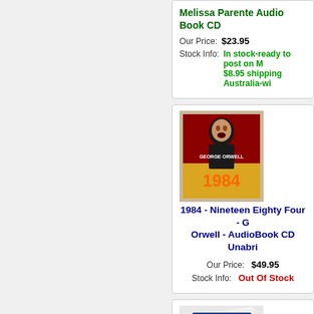Melissa Parente Audio Book CD
Our Price: $23.95
Stock Info: In stock-ready to post on M... $8.95 shipping Australia-wi...
[Figure (photo): Cover of George Orwell 1984 audiobook CD]
1984 - Nineteen Eighty Four - G... Orwell - AudioBook CD Unabri...
Our Price: $49.95
Stock Info: Out Of Stock
[Figure (photo): Cover of 7 Habits of Highly Effective People audiobook CD]